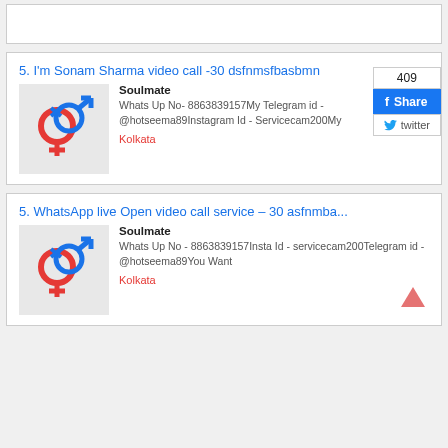5. I'm Sonam Sharma video call -30 dsfnmsfbasbmn
Soulmate
Whats Up No- 8863839157My Telegram id - @hotseema89Instagram Id - Servicecam200My
Kolkata
[Figure (illustration): Gender symbol icon - male and female symbols interlinked, blue and red]
5. WhatsApp live Open video call service – 30 asfnmba...
Soulmate
Whats Up No - 8863839157Insta Id - servicecam200Telegram id - @hotseema89You Want
Kolkata
[Figure (illustration): Gender symbol icon - male and female symbols interlinked, blue and red]
[Figure (illustration): Scroll-to-top arrow icon in salmon/red color]